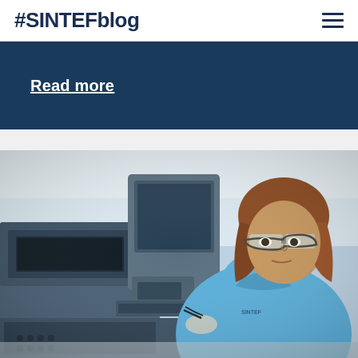#SINTEFblog
Read more
[Figure (photo): A woman wearing a blue SINTEF polo shirt and safety glasses is leaning over and operating a large blue scientific/laboratory instrument. A second person in blue is visible in the background of the laboratory.]